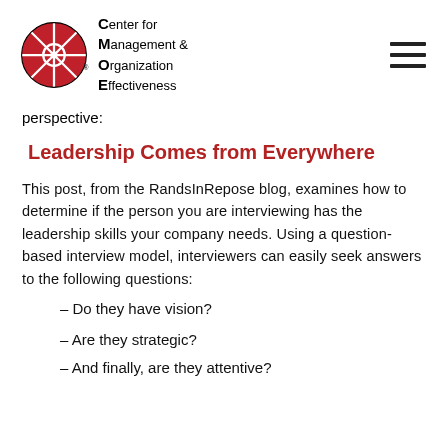Center for Management & Organization Effectiveness
perspective:
Leadership Comes from Everywhere
This post, from the RandsInRepose blog, examines how to determine if the person you are interviewing has the leadership skills your company needs. Using a question-based interview model, interviewers can easily seek answers to the following questions:
– Do they have vision?
– Are they strategic?
– And finally, are they attentive?